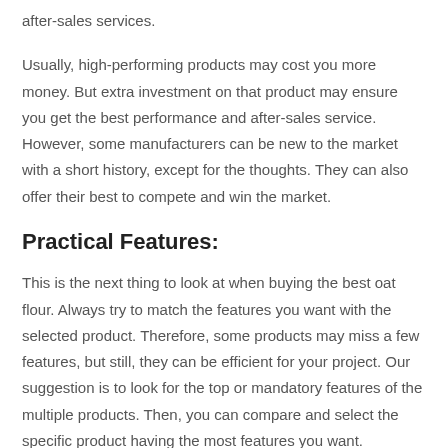after-sales services.
Usually, high-performing products may cost you more money. But extra investment on that product may ensure you get the best performance and after-sales service. However, some manufacturers can be new to the market with a short history, except for the thoughts. They can also offer their best to compete and win the market.
Practical Features:
This is the next thing to look at when buying the best oat flour. Always try to match the features you want with the selected product. Therefore, some products may miss a few features, but still, they can be efficient for your project. Our suggestion is to look for the top or mandatory features of the multiple products. Then, you can compare and select the specific product having the most features you want.